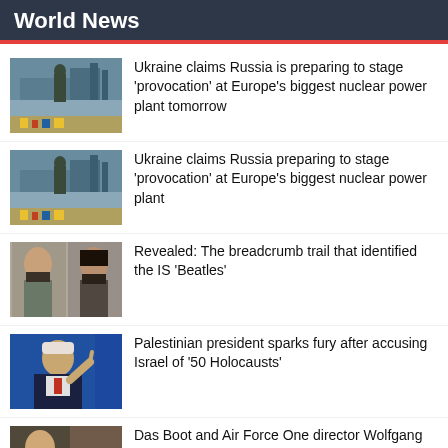World News
Ukraine claims Russia is preparing to stage 'provocation' at Europe's biggest nuclear power plant tomorrow
Ukraine claims Russia preparing to stage 'provocation' at Europe's biggest nuclear power plant
Revealed: The breadcrumb trail that identified the IS 'Beatles'
Palestinian president sparks fury after accusing Israel of '50 Holocausts'
Das Boot and Air Force One director Wolfgang